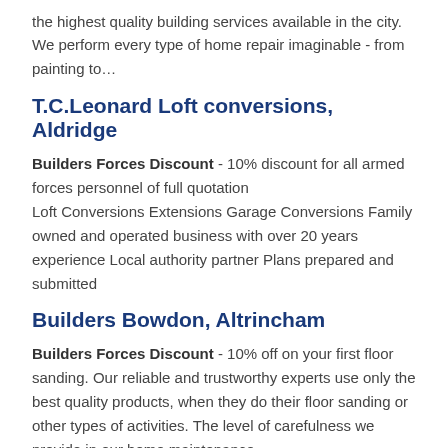the highest quality building services available in the city. We perform every type of home repair imaginable - from painting to…
T.C.Leonard Loft conversions, Aldridge
Builders Forces Discount - 10% discount for all armed forces personnel of full quotation
Loft Conversions Extensions Garage Conversions Family owned and operated business with over 20 years experience Local authority partner Plans prepared and submitted
Builders Bowdon, Altrincham
Builders Forces Discount - 10% off on your first floor sanding. Our reliable and trustworthy experts use only the best quality products, when they do their floor sanding or other types of activities. The level of carefulness we provide in our home maintenance…